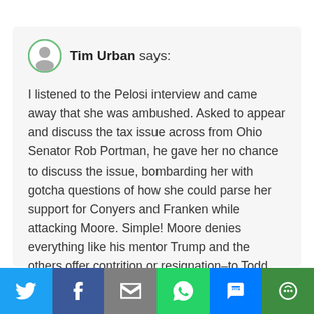Tim Urban says:
I listened to the Pelosi interview and came away that she was ambushed. Asked to appear and discuss the tax issue across from Ohio Senator Rob Portman, he gave her no chance to discuss the issue, bombarding her with gotcha questions of how she could parse her support for Conyers and Franken while attacking Moore. Simple! Moore denies everything like his mentor Trump and the others offer contrition or resignation–to Todd, moral equivalency.
Oh how I wish for the return of Tim Russert.
[Figure (infographic): Social share bar with Twitter, Facebook, Email, WhatsApp, SMS, and More buttons]